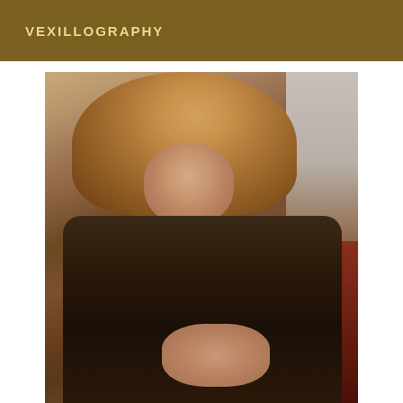VEXILLOGRAPHY
[Figure (photo): A person with long wavy blonde/reddish hair wearing a sheer black top, seated, looking downward. The background shows a light wall and dark red seating. The image has a warm, vintage photo quality.]